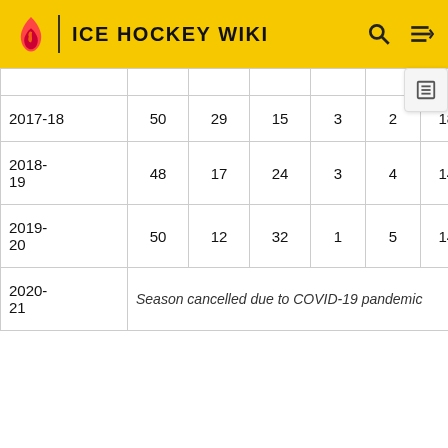ICE HOCKEY WIKI
| Season | GP | W | L | OT | OTL | GF | GA | Pts |
| --- | --- | --- | --- | --- | --- | --- | --- | --- |
| 2017-18 | 50 | 29 | 15 | 3 | 2 | 182 | 154 |  |
| 2018-19 | 48 | 17 | 24 | 3 | 4 | 145 | 176 | 41 |
| 2019-20 | 50 | 12 | 32 | 1 | 5 | 146 | 262 | 30 |
| 2020-21 | Season cancelled due to COVID-19 pandemic |  |  |  |  |  |  |  |